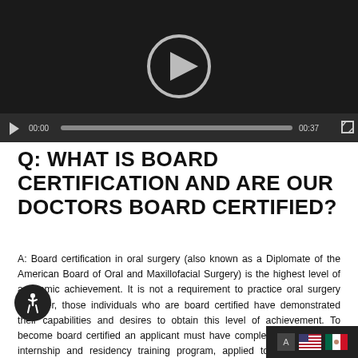[Figure (screenshot): Video player with dark background showing a play button circle icon in the center, and a control bar at the bottom with play button, time 00:00, progress bar, time 00:37, and fullscreen icon.]
Q: WHAT IS BOARD CERTIFICATION AND ARE OUR DOCTORS BOARD CERTIFIED?
A: Board certification in oral surgery (also known as a Diplomate of the American Board of Oral and Maxillofacial Surgery) is the highest level of academic achievement. It is not a requirement to practice oral surgery however, those individuals who are board certified have demonstrated their capabilities and desires to obtain this level of achievement. To become board certified an applicant must have completed an approved internship and residency training program, applied to the board, be accepted, and pass a written and verbal exam. Many hospitals and insurance plans are now requiring certification to treat patients. Both Drs.